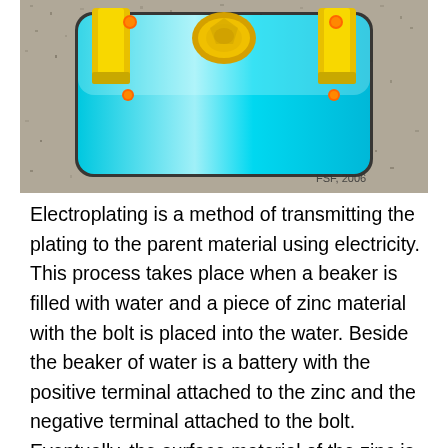[Figure (illustration): An illustration of an electroplating setup showing a beaker with cyan/teal water, yellow electrode holders on both sides, an orange/gold bolt in the center, small orange circles (representing ions), and a stone/granite background. Watermark reads 'FSF, 2006'.]
Electroplating is a method of transmitting the plating to the parent material using electricity. This process takes place when a beaker is filled with water and a piece of zinc material with the bolt is placed into the water. Beside the beaker of water is a battery with the positive terminal attached to the zinc and the negative terminal attached to the bolt. Eventually, the surface material of the zinc is deposited onto the bolt. Depending on how long you continue this process and the rating of voltage used will determine the thickness of the plating the bolt. Obviously, if you are making these by the millions, you aren't using a battery...